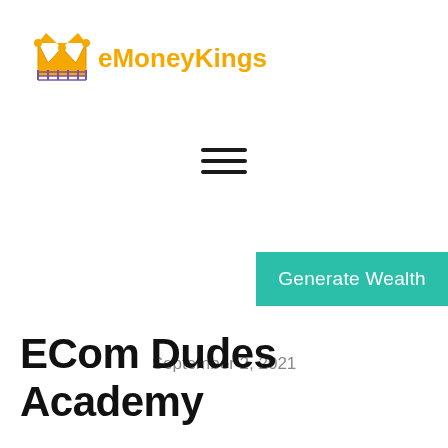eMoneyKings
[Figure (other): Hamburger menu icon with three horizontal lines]
[Figure (other): Generate Wealth button with teal/green background]
September 2, 2021
ECom Dudes Academy